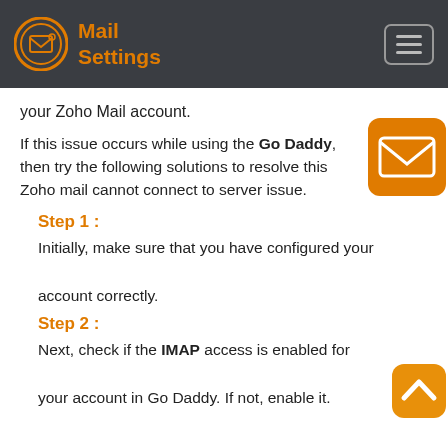Mail Settings
your Zoho Mail account.
If this issue occurs while using the Go Daddy, then try the following solutions to resolve this Zoho mail cannot connect to server issue.
Step 1 :
Initially, make sure that you have configured your account correctly.
Step 2 :
Next, check if the IMAP access is enabled for your account in Go Daddy. If not, enable it.